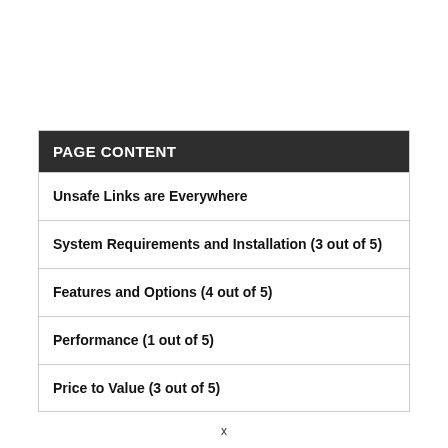PAGE CONTENT
Unsafe Links are Everywhere
System Requirements and Installation (3 out of 5)
Features and Options (4 out of 5)
Performance (1 out of 5)
Price to Value (3 out of 5)
x